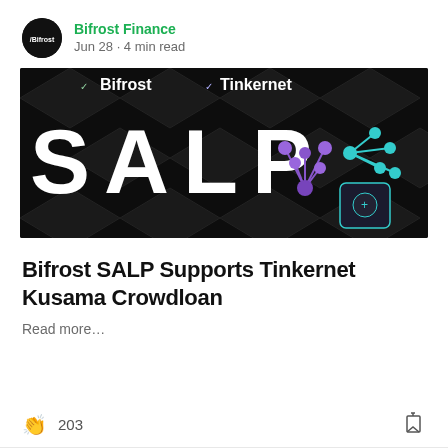Bifrost Finance · Jun 28 · 4 min read
[Figure (screenshot): Dark banner image with Bifrost and Tinkernet logos at top, large white 'SALP' text in center, purple network node graphic and teal robot/tool graphic on right side, dark geometric diamond pattern background]
Bifrost SALP Supports Tinkernet Kusama Crowdloan
Read more…
203